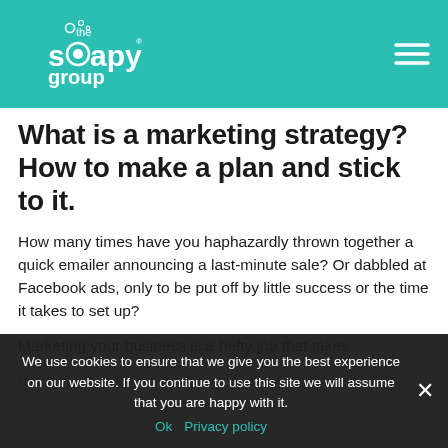the soapy group
What is a marketing strategy? How to make a plan and stick to it.
How many times have you haphazardly thrown together a quick emailer announcing a last-minute sale? Or dabbled at Facebook ads, only to be put off by little success or the time it takes to set up?
Marketing your business is a hefty job that takes
really feel like you're ever on top of it.
We use cookies to ensure that we give you the best experience on our website. If you continue to use this site we will assume that you are happy with it.
Ok  Privacy policy